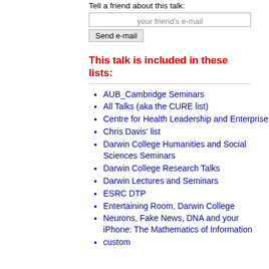Tell a friend about this talk:
your friend's e-mail
Send e-mail
This talk is included in these lists:
AUB_Cambridge Seminars
All Talks (aka the CURE list)
Centre for Health Leadership and Enterprise
Chris Davis' list
Darwin College Humanities and Social Sciences Seminars
Darwin College Research Talks
Darwin Lectures and Seminars
ESRC DTP
Entertaining Room, Darwin College
Neurons, Fake News, DNA and your iPhone: The Mathematics of Information
custom